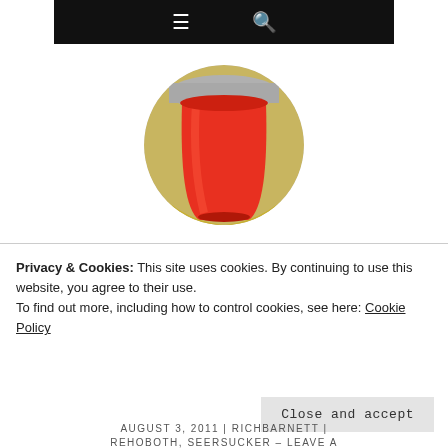☰  🔍
[Figure (photo): Circular cropped photo showing a red cup against a blurred background, used as a site logo/avatar]
THE GO CUP
Website of Author Rich Barnett
COLUMNS  PHOTOS
Privacy & Cookies: This site uses cookies. By continuing to use this website, you agree to their use.
To find out more, including how to control cookies, see here: Cookie Policy
Close and accept
AUGUST 3, 2011  |  RICHBARNETT  |  REHOBOTH, SEERSUCKER – LEAVE A